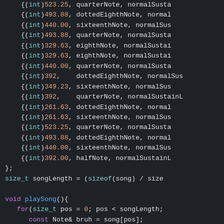Code snippet showing C++ music note array and playSong function